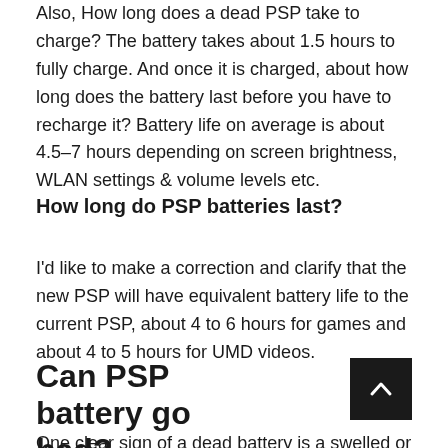Also, How long does a dead PSP take to charge? The battery takes about 1.5 hours to fully charge. And once it is charged, about how long does the battery last before you have to recharge it? Battery life on average is about 4.5–7 hours depending on screen brightness, WLAN settings & volume levels etc.
How long do PSP batteries last?
I'd like to make a correction and clarify that the new PSP will have equivalent battery life to the current PSP, about 4 to 6 hours for games and about 4 to 5 hours for UMD videos.
Can PSP battery go bad?
One clear sign of a dead battery is a swelled or bloated battery. This